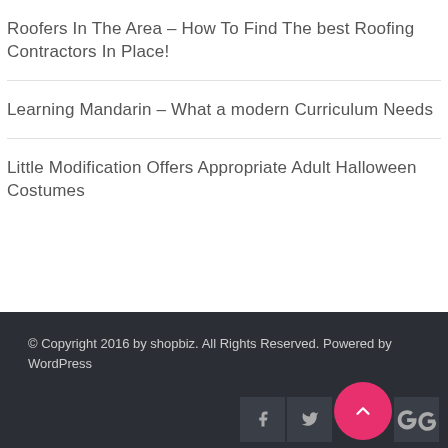Roofers In The Area – How To Find The best Roofing Contractors In Place!
Learning Mandarin – What a modern Curriculum Needs
Little Modification Offers Appropriate Adult Halloween Costumes
© Copyright 2016 by shopbiz. All Rights Reserved. Powered by WordPress